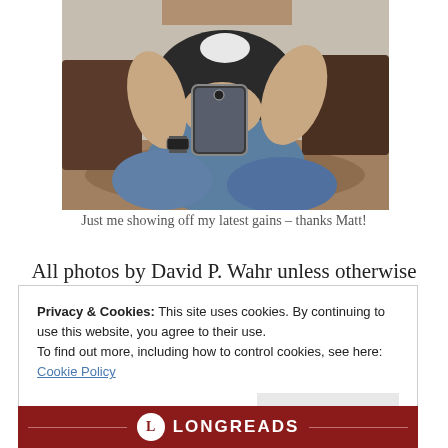[Figure (photo): A man sitting cross-legged on the floor taking a mirror selfie with a smartphone, wearing a dark vest and blue jeans, showing muscular arms.]
Just me showing off my latest gains – thanks Matt!
All photos by David P. Wahr unless otherwise
Privacy & Cookies: This site uses cookies. By continuing to use this website, you agree to their use.
To find out more, including how to control cookies, see here:
Cookie Policy
Close and accept
[Figure (logo): Longreads logo bar in dark red with circular L emblem and LONGREADS text with decorative lines on either side.]